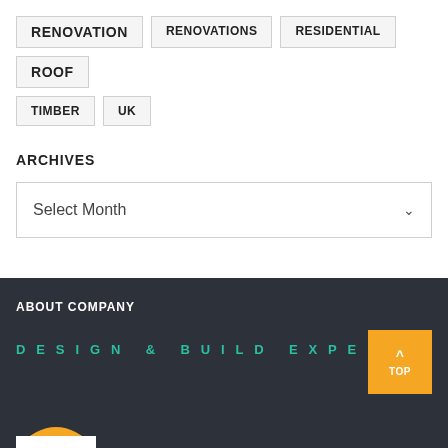RENOVATION
RENOVATIONS
RESIDENTIAL
ROOF
TIMBER
UK
ARCHIVES
Select Month
ABOUT COMPANY
DESIGN & BUILD EXPE...
TOP